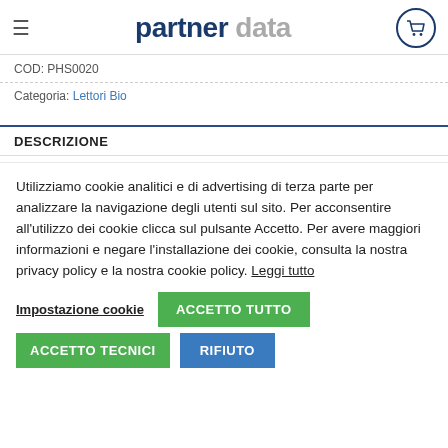partner data
COD: PHS0020
Categoria: Lettori Bio
DESCRIZIONE
Utilizziamo cookie analitici e di advertising di terza parte per analizzare la navigazione degli utenti sul sito. Per acconsentire all'utilizzo dei cookie clicca sul pulsante Accetto. Per avere maggiori informazioni e negare l'installazione dei cookie, consulta la nostra privacy policy e la nostra cookie policy. Leggi tutto
Impostazione cookie | ACCETTO TUTTO | ACCETTO TECNICI | RIFIUTO